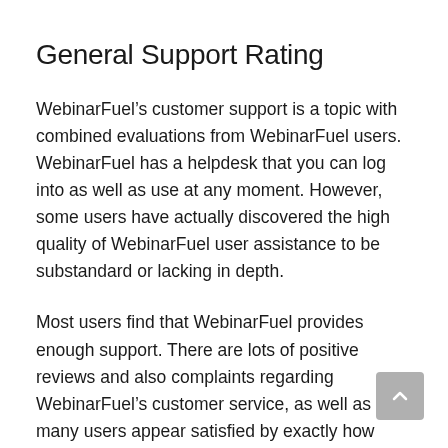General Support Rating
WebinarFuel’s customer support is a topic with combined evaluations from WebinarFuel users. WebinarFuel has a helpdesk that you can log into as well as use at any moment. However, some users have actually discovered the high quality of WebinarFuel user assistance to be substandard or lacking in depth.
Most users find that WebinarFuel provides enough support. There are lots of positive reviews and also complaints regarding WebinarFuel’s customer service, as well as many users appear satisfied by exactly how they received it in the existing moment.